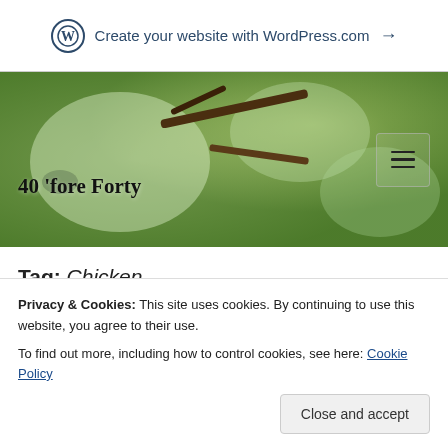Create your website with WordPress.com →
[Figure (photo): Blurred green foliage background with dark branch, site header area showing '40 'fore Forty' blog title and hamburger menu icon]
40 'fore Forty
Tag: Chicken
Day 212
Privacy & Cookies: This site uses cookies. By continuing to use this website, you agree to their use.
To find out more, including how to control cookies, see here: Cookie Policy
house and off to work. I sat. I stared.